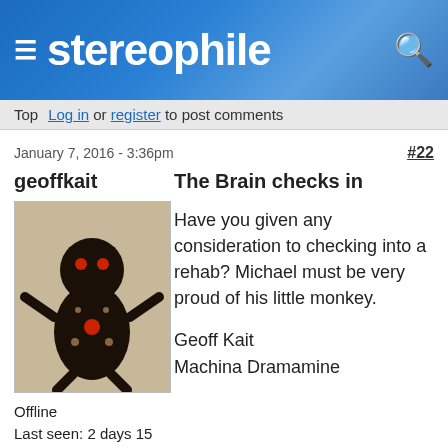stereophile
Top   Log in or register to post comments
January 7, 2016 - 3:36pm   #22
geoffkait
[Figure (photo): Avatar image of a black voodoo doll figure with red jewels against a light background]
Offline
Last seen: 2 days 15 hours ago
Joined: Apr 29 2008 - 5:10am
The Brain checks in
Have you given any consideration to checking into a rehab? Michael must be very proud of his little monkey.
Geoff Kait
Machina Dramamine